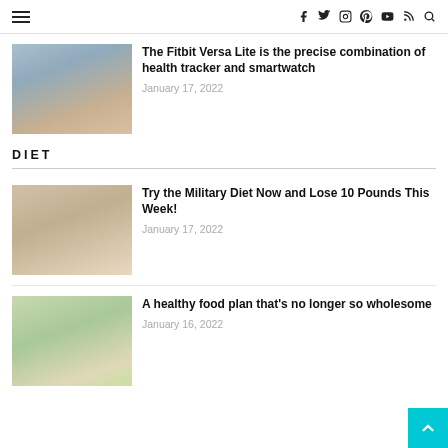Navigation bar with hamburger menu and social icons: f (Facebook), Twitter, Instagram, Pinterest, YouTube, RSS, Search
[Figure (photo): Woman wearing fitness tracker / smartwatch on wrist, outdoor setting]
The Fitbit Versa Lite is the precise combination of health tracker and smartwatch
January 17, 2022
DIET
[Figure (photo): Person preparing food on a kitchen counter, diet meal preparation]
Try the Military Diet Now and Lose 10 Pounds This Week!
January 17, 2022
[Figure (photo): Overhead view of a spread of healthy food dishes on a table]
A healthy food plan that's no longer so wholesome
January 16, 2022